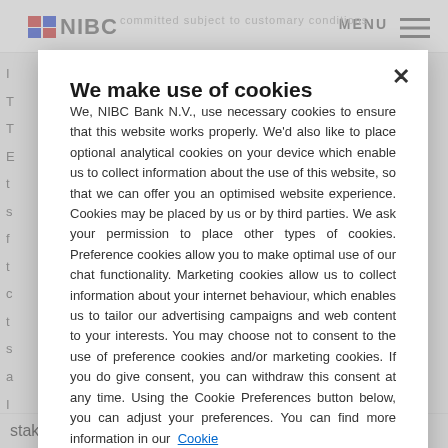committed subject to customary conditions  NIBC  MENU
We make use of cookies
We, NIBC Bank N.V., use necessary cookies to ensure that this website works properly. We'd also like to place optional analytical cookies on your device which enable us to collect information about the use of this website, so that we can offer you an optimised website experience. Cookies may be placed by us or by third parties. We ask your permission to place other types of cookies. Preference cookies allow you to make optimal use of our chat functionality. Marketing cookies allow us to collect information about your internet behaviour, which enables us to tailor our advertising campaigns and web content to your interests. You may choose not to consent to the use of preference cookies and/or marketing cookies. If you do give consent, you can withdraw this consent at any time. Using the Cookie Preferences button below, you can adjust your preferences. You can find more information in our Cookie Policy and our Privacy Statement
stakeholders. Furthermore, the Offeror and the